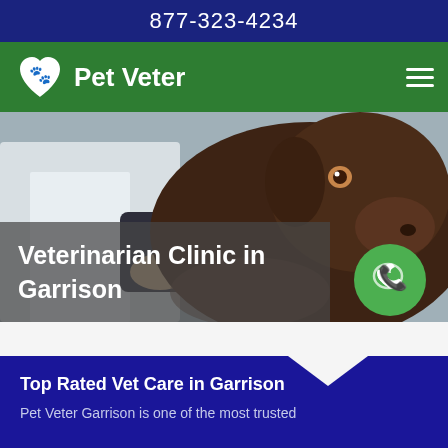877-323-4234
Pet Veter
[Figure (photo): Hero image showing a veterinarian in a white coat giving an injection to a dark brown Labrador dog. The dog is looking upward. Overlaid text reads 'Veterinarian Clinic in Garrison' on a semi-transparent grey background. A green circular phone/call button is visible in the lower right.]
Top Rated Vet Care in Garrison
Pet Veter Garrison is one of the most trusted